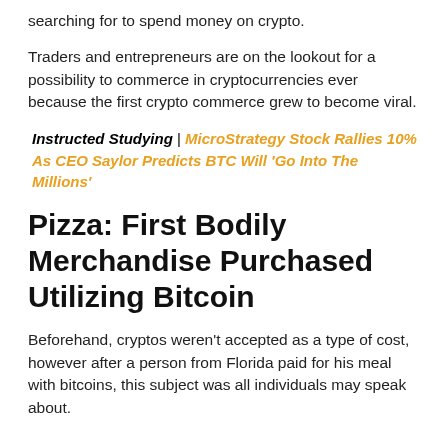searching for to spend money on crypto.
Traders and entrepreneurs are on the lookout for a possibility to commerce in cryptocurrencies ever because the first crypto commerce grew to become viral.
Instructed Studying | MicroStrategy Stock Rallies 10% As CEO Saylor Predicts BTC Will 'Go Into The Millions'
Pizza: First Bodily Merchandise Purchased Utilizing Bitcoin
Beforehand, cryptos weren't accepted as a type of cost, however after a person from Florida paid for his meal with bitcoins, this subject was all individuals may speak about.